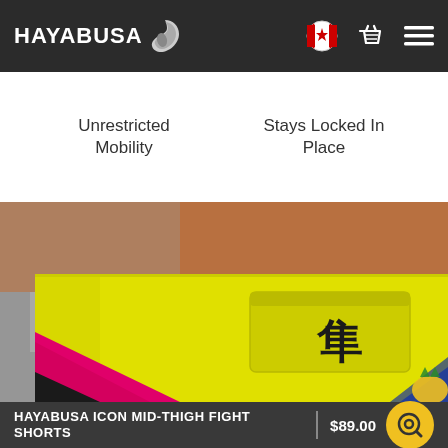HAYABUSA
Unrestricted Mobility
Stays Locked In Place
[Figure (photo): Close-up of bright yellow Hayabusa fight shorts with a kanji character on the back pocket and a pink and black graphic on the side, worn by a person with brown skin against a blurred background.]
HAYABUSA ICON MID-THIGH FIGHT SHORTS | $89.00